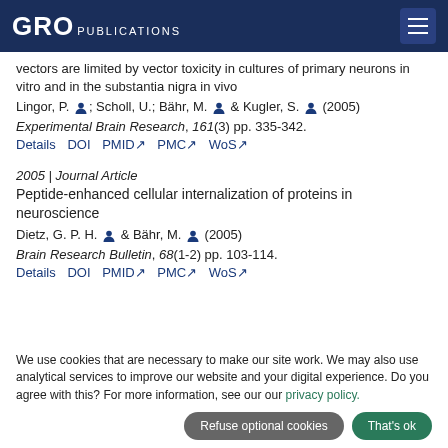GRO PUBLICATIONS
vectors are limited by vector toxicity in cultures of primary neurons in vitro and in the substantia nigra in vivo
Lingor, P. [icon]; Scholl, U.; Bähr, M. [icon] & Kugler, S. [icon] (2005)
Experimental Brain Research, 161(3) pp. 335-342.
Details  DOI  PMID↗  PMC↗  WoS↗
2005 | Journal Article
Peptide-enhanced cellular internalization of proteins in neuroscience
Dietz, G. P. H. [icon] & Bähr, M. [icon] (2005)
Brain Research Bulletin, 68(1-2) pp. 103-114.
Details  DOI  PMID↗  PMC↗  WoS↗
We use cookies that are necessary to make our site work. We may also use analytical services to improve our website and your digital experience. Do you agree with this? For more information, see our our privacy policy.